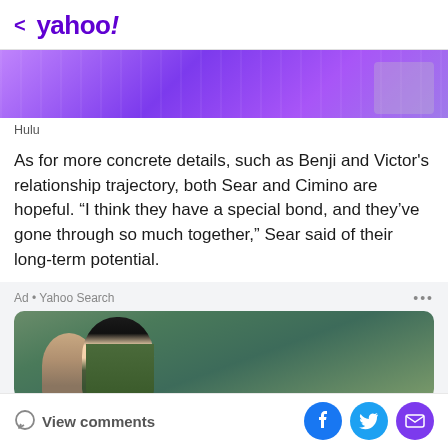< yahoo!
[Figure (photo): Cropped hero image showing purple-lit scene, partially visible at top of page]
Hulu
As for more concrete details, such as Benji and Victor's relationship trajectory, both Sear and Cimino are hopeful. “I think they have a special bond, and they’ve gone through so much together,” Sear said of their long-term potential.
[Figure (photo): Ad image showing two people outdoors against green hillside background. Ad label: Ad • Yahoo Search]
View comments